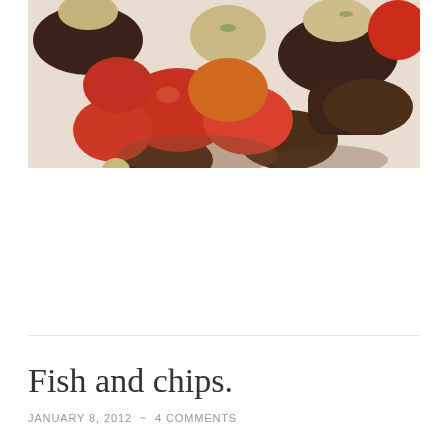[Figure (photo): Close-up food photograph showing cooked scallops, sausages, and roasted red peppers with herbs on a plate]
Fish and chips.
JANUARY 8, 2012 ~ 4 COMMENTS